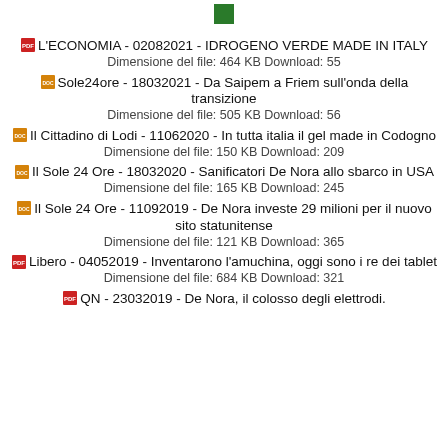[Figure (logo): Green square logo/icon at top center]
L'ECONOMIA - 02082021 - IDROGENO VERDE MADE IN ITALY
Dimensione del file: 464 KB Download: 55
Sole24ore - 18032021 - Da Saipem a Friem sull'onda della transizione
Dimensione del file: 505 KB Download: 56
Il Cittadino di Lodi - 11062020 - In tutta italia il gel made in Codogno
Dimensione del file: 150 KB Download: 209
Il Sole 24 Ore - 18032020 - Sanificatori De Nora allo sbarco in USA
Dimensione del file: 165 KB Download: 245
Il Sole 24 Ore - 11092019 - De Nora investe 29 milioni per il nuovo sito statunitense
Dimensione del file: 121 KB Download: 365
Libero - 04052019 - Inventarono l'amuchina, oggi sono i re dei tablet
Dimensione del file: 684 KB Download: 321
QN - 23032019 - De Nora, il colosso degli elettrodi.